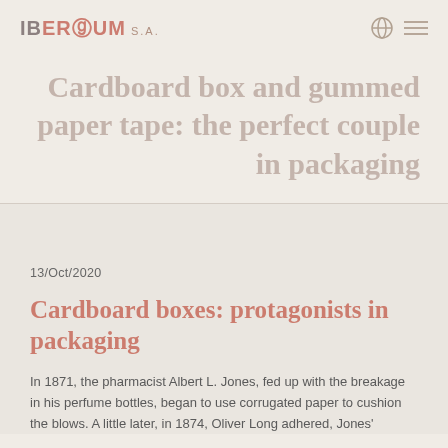IBERSUM S.A.
Cardboard box and gummed paper tape: the perfect couple in packaging
13/Oct/2020
Cardboard boxes: protagonists in packaging
In 1871, the pharmacist Albert L. Jones, fed up with the breakage in his perfume bottles, began to use corrugated paper to cushion the blows. A little later, in 1874, Oliver Long adhered, Jones'